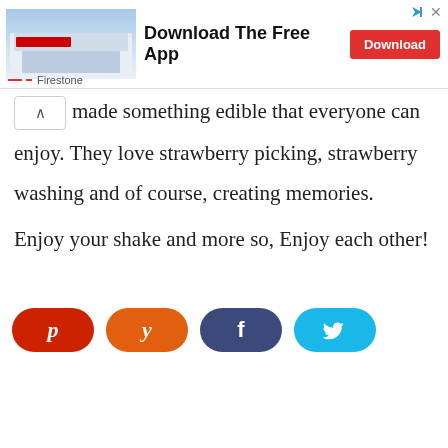[Figure (infographic): Advertisement banner for Firestone app download. Shows a Firestone store building photo on the left, bold text 'Download The Free App' in the center, and a red 'Download' button on the right. Has a small Firestone label with red dash below the image.]
made something edible that everyone can enjoy. They love strawberry picking, strawberry washing and of course, creating memories. Enjoy your shake and more so, Enjoy each other!
[Figure (infographic): Four social sharing buttons in a row: Pinterest (red, 'p' icon), Yummly (orange, 'y' icon), Facebook (dark blue, 'f' icon), Twitter (cyan, bird icon).]